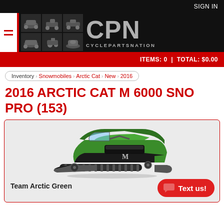SIGN IN
[Figure (logo): CyclePartsNation (CPN) logo with grid of motorsport vehicle thumbnails and text CYCLEPARTSNATION]
ITEMS: 0 | TOTAL: $0.00
Inventory > Snowmobiles > Arctic Cat > New > 2016
2016 ARCTIC CAT M 6000 SNO PRO (153)
[Figure (photo): Green and black 2016 Arctic Cat M 6000 Sno Pro (153) snowmobile on white/grey background]
Team Arctic Green